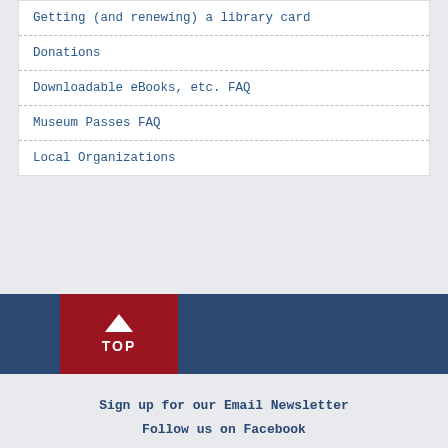Getting (and renewing) a library card
Donations
Downloadable eBooks, etc. FAQ
Museum Passes FAQ
Local Organizations
TOP
Sign up for our Email Newsletter
Follow us on Facebook
Follow us on Instagram